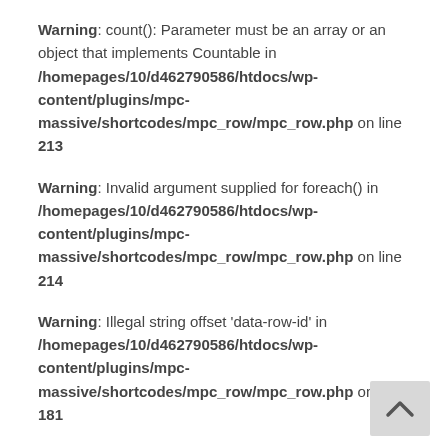Warning: count(): Parameter must be an array or an object that implements Countable in /homepages/10/d462790586/htdocs/wp-content/plugins/mpc-massive/shortcodes/mpc_row/mpc_row.php on line 213
Warning: Invalid argument supplied for foreach() in /homepages/10/d462790586/htdocs/wp-content/plugins/mpc-massive/shortcodes/mpc_row/mpc_row.php on line 214
Warning: Illegal string offset 'data-row-id' in /homepages/10/d462790586/htdocs/wp-content/plugins/mpc-massive/shortcodes/mpc_row/mpc_row.php on line 181
Warning: Illegal string offset 'data-animation-in' in /homepages/10/d462790586/htdocs/wp-content/plugins/mpc-massive/shortcodes/mpc_row/mpc_row.php